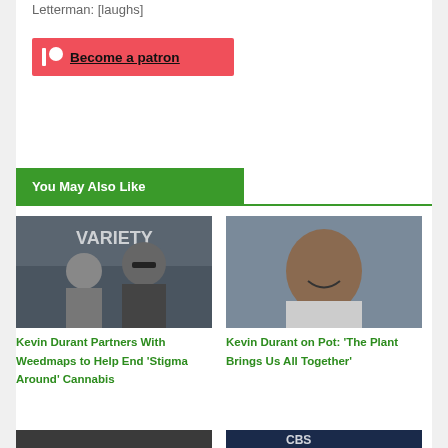Letterman: [laughs]
[Figure (other): Patreon become a patron button — red/pink background with Patreon logo and 'Become a patron' text]
You May Also Like
[Figure (photo): Two men posing at a Variety event — one shorter man in grey shirt, one taller man in black jacket and sunglasses]
[Figure (photo): Headshot of Kevin Durant smiling, wearing a basketball jersey]
Kevin Durant Partners With Weedmaps to Help End 'Stigma Around' Cannabis
Kevin Durant on Pot: 'The Plant Brings Us All Together'
[Figure (photo): Partially visible image at bottom left]
[Figure (photo): Partially visible image at bottom right with CBS logo visible]